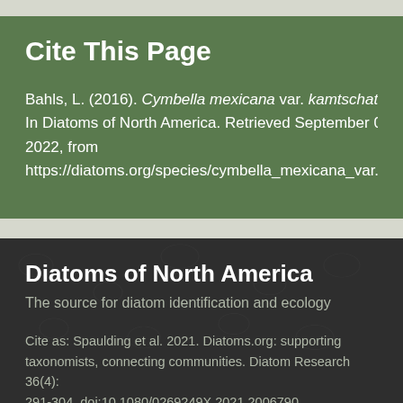Cite This Page
Bahls, L. (2016). Cymbella mexicana var. kamtschatica. In Diatoms of North America. Retrieved September 04, 2022, from https://diatoms.org/species/cymbella_mexicana_var._kam
Diatoms of North America
The source for diatom identification and ecology
Cite as: Spaulding et al. 2021. Diatoms.org: supporting taxonomists, connecting communities. Diatom Research 36(4): 291-304. doi:10.1080/0269249X.2021.2006790